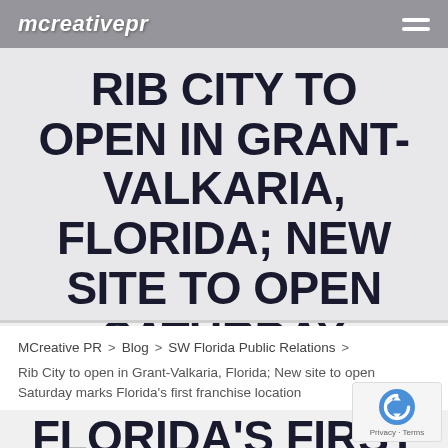mcreativepr
RIB CITY TO OPEN IN GRANT-VALKARIA, FLORIDA; NEW SITE TO OPEN SATURDAY MARKS FLORIDA'S FIRST FRANCHISE LOCATION
MCreative PR > Blog > SW Florida Public Relations > Rib City to open in Grant-Valkaria, Florida; New site to open Saturday marks Florida's first franchise location